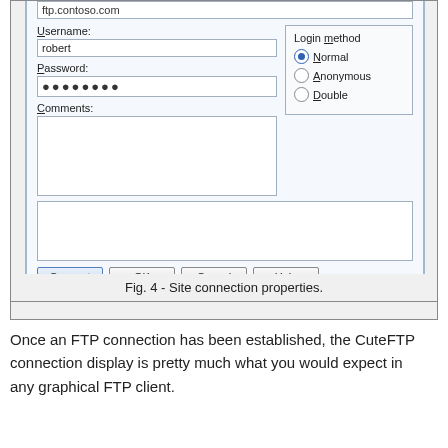[Figure (screenshot): A screenshot of an FTP site connection properties dialog showing Username field with 'robert', Password field with dots, Comments text area, Login method radio buttons (Normal selected, Anonymous, Double), and buttons: Connect, OK, Cancel, Help.]
Fig. 4 - Site connection properties.
Once an FTP connection has been established, the CuteFTP connection display is pretty much what you would expect in any graphical FTP client.